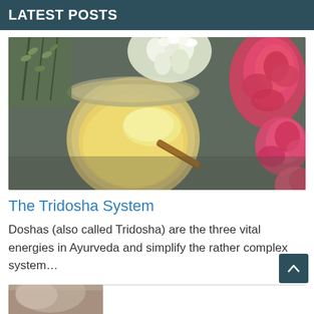LATEST POSTS
[Figure (photo): A jar of ghee (clarified butter) with a wooden spoon, surrounded by white and pink flowers on a dark background]
The Tridosha System
Doshas (also called Tridosha) are the three vital energies in Ayurveda and simplify the rather complex system…
[Figure (photo): Partial view of a person, bottom of page]